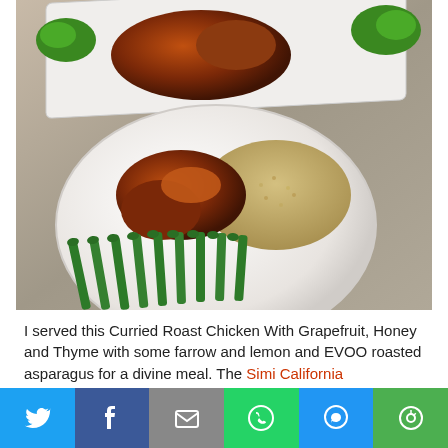[Figure (photo): Photo of a roasted chicken dish on a white round plate with asparagus and quinoa/grain, and another serving on a rectangular white platter in the background, set on a granite countertop with fresh herbs as garnish.]
I served this Curried Roast Chicken With Grapefruit, Honey and Thyme with some farrow and lemon and EVOO roasted asparagus for a divine meal. The Simi California Chardonnay was
[Figure (infographic): Social media sharing bar with buttons for Twitter (blue bird icon), Facebook (dark blue f icon), Email (grey envelope icon), WhatsApp (green phone icon), SMS (blue speech bubble icon), and More (green circle arrow icon).]